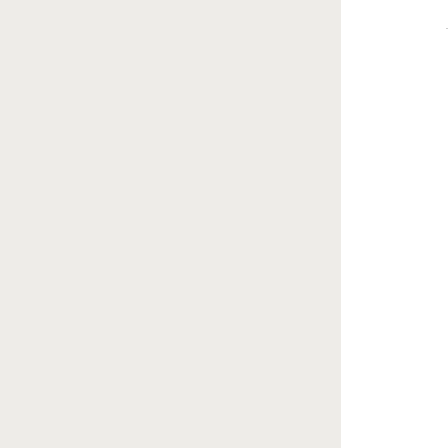29 s
[Figure (photo): Partially visible card with a gray image placeholder, green link text starting with 'em', and text lines: Me, Fe, 26]
em
Me
Fe
26
[Figure (photo): Partially visible card with a gray image placeholder, green link text starting with 'ofth', and text lines: Me, Fem, 24 y]
ofth
Me
Fem
24 y